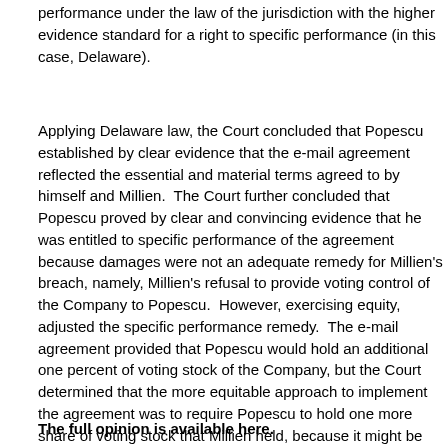performance under the law of the jurisdiction with the higher evidence standard for a right to specific performance (in this case, Delaware).
Applying Delaware law, the Court concluded that Popescu established by clear evidence that the e-mail agreement reflected the essential and material terms agreed to by himself and Millien.  The Court further concluded that Popescu proved by clear and convincing evidence that he was entitled to specific performance of the agreement because damages were not an adequate remedy for Millien's breach, namely, Millien's refusal to provide voting control of the Company to Popescu.  However, exercising equity, adjusted the specific performance remedy.  The e-mail agreement provided that Popescu would hold an additional one percent of voting stock of the Company, but the Court determined that the more equitable approach to implement the agreement was to require Popescu to hold one more share of voting stock that Millien held, because it might be economically inequitable to award Popescu more shares of voting stock than necessary to effect the intent of the e-mail agreement because as the value of the Company increases, so too does the value of every share of Company stock.  The Court ordered the Company to issue one additional share of voting stock to Popescu.
The full opinion is available here.